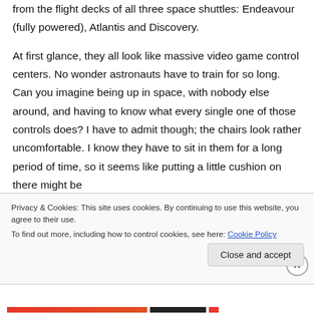from the flight decks of all three space shuttles: Endeavour (fully powered), Atlantis and Discovery.
At first glance, they all look like massive video game control centers. No wonder astronauts have to train for so long. Can you imagine being up in space, with nobody else around, and having to know what every single one of those controls does? I have to admit though; the chairs look rather uncomfortable. I know they have to sit in them for a long period of time, so it seems like putting a little cushion on there might be
Privacy & Cookies: This site uses cookies. By continuing to use this website, you agree to their use.
To find out more, including how to control cookies, see here: Cookie Policy
Close and accept